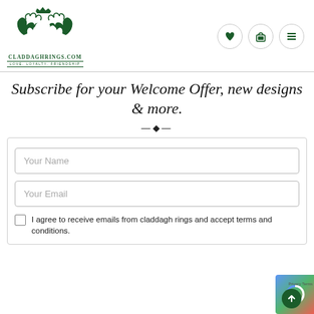CladdaghRings.com — Love, Loyalty, Friendship
Subscribe for your Welcome Offer, new designs & more.
—◆—
Your Name
Your Email
I agree to receive emails from claddagh rings and accept terms and conditions.